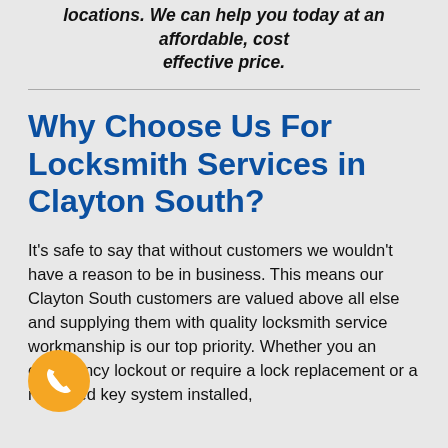locations. We can help you today at an affordable, cost effective price.
Why Choose Us For Locksmith Services in Clayton South?
It's safe to say that without customers we wouldn't have a reason to be in business. This means our Clayton South customers are valued above all else and supplying them with quality locksmith service workmanship is our top priority. Whether you an emergency lockout or require a lock replacement or a restricted key system installed,